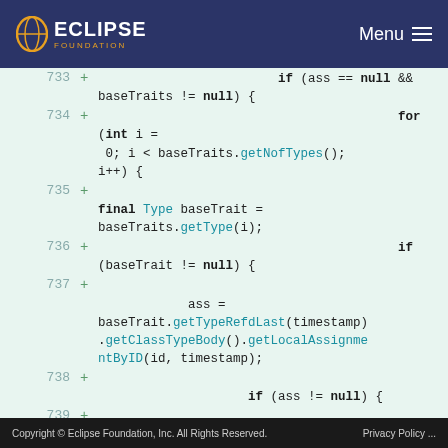ECLIPSE FOUNDATION | Menu
[Figure (screenshot): Code diff view showing Java source lines 733-740 with green background indicating additions. Lines show nested if/for loop logic with baseTraits, getType, getTypeRefdLast, getClassTypeBody, getLocalAssignmentByID method calls.]
Copyright © Eclipse Foundation, Inc. All Rights Reserved. Privacy Policy ...